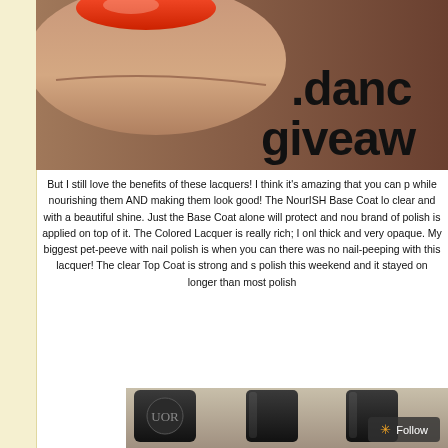[Figure (photo): Close-up photo of a finger with red nail polish, and text overlay reading '.danc giveaw' in large black font on a dark background]
But I still love the benefits of these lacquers! I think it's amazing that you can p while nourishing them AND making them look good! The NourISH Base Coat lo clear and with a beautiful shine. Just the Base Coat alone will protect and nou brand of polish is applied on top of it. The Colored Lacquer is really rich; I onl thick and very opaque. My biggest pet-peeve with nail polish is when you can there was no nail-peeping with this lacquer! The clear Top Coat is strong and s polish this weekend and it stayed on longer than most polish
[Figure (photo): Close-up photo of nail polish bottle caps, dark/black caps on a light background, with a Follow button overlay]